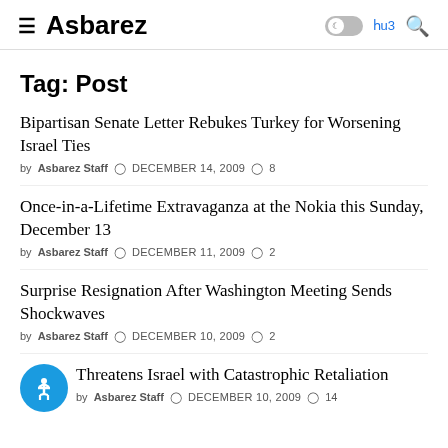≡ Asbarez  ☾ Հuз 🔍
Tag: Post
Bipartisan Senate Letter Rebukes Turkey for Worsening Israel Ties
by Asbarez Staff  DECEMBER 14, 2009  8
Once-in-a-Lifetime Extravaganza at the Nokia this Sunday, December 13
by Asbarez Staff  DECEMBER 11, 2009  2
Surprise Resignation After Washington Meeting Sends Shockwaves
by Asbarez Staff  DECEMBER 10, 2009  2
Turkey Threatens Israel with Catastrophic Retaliation
by Asbarez Staff  DECEMBER 10, 2009  14